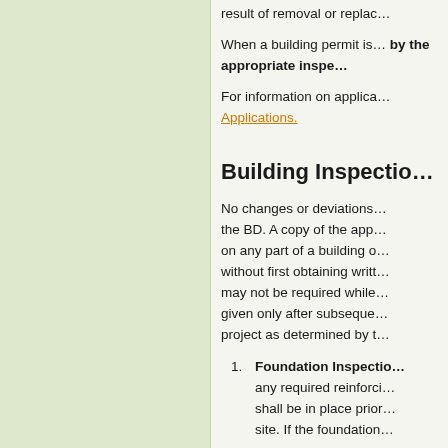result of removal or replacement...
When a building permit is... by the appropriate inspector...
For information on applications... Applications.
Building Inspections
No changes or deviations... the BD. A copy of the approved... on any part of a building... without first obtaining written... may not be required while... given only after subsequent... project as determined by the...
Foundation Inspection: any required reinforcing... shall be in place prior... site. If the foundation...